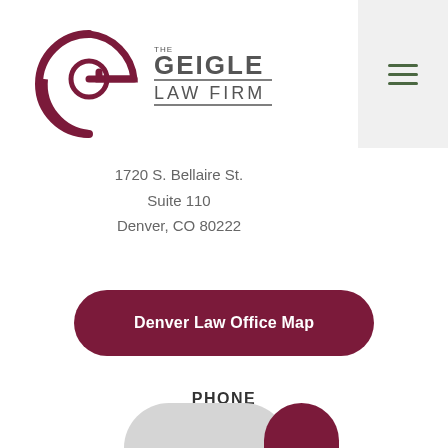[Figure (logo): The Geigle Law Firm logo with stylized G monogram in dark red/maroon and firm name text]
1720 S. Bellaire St.
Suite 110
Denver, CO 80222
Denver Law Office Map
PHONE
303-731-2708
Fax: 720-600-4641